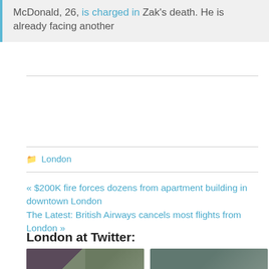McDonald, 26, is charged in Zak's death. He is already facing another
London
« $200K fire forces dozens from apartment building in downtown London
The Latest: British Airways cancels most flights from London »
London at Twitter:
[Figure (photo): Two side-by-side thumbnail images. Left: a woman's face and a scene with emergency vehicles. Right: two men in police uniforms.]